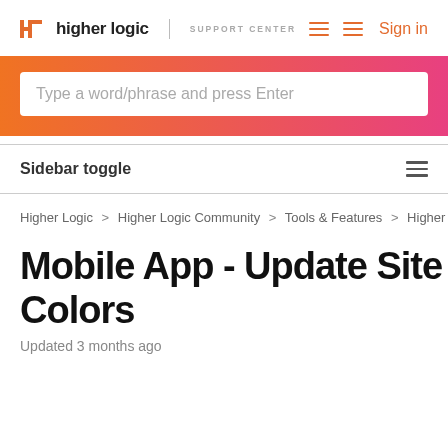higher logic | SUPPORT CENTER   Sign in
[Figure (screenshot): Orange to pink gradient search banner with search box containing placeholder text 'Type a word/phrase and press Enter']
Sidebar toggle
Higher Logic > Higher Logic Community > Tools & Features > Higher Logic...
Mobile App - Update Site N... Colors
Updated 3 months ago